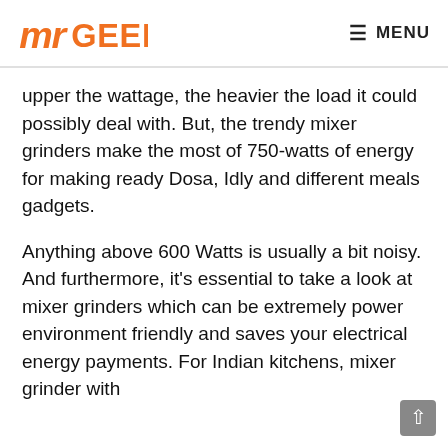MrGeek MENU
upper the wattage, the heavier the load it could possibly deal with. But, the trendy mixer grinders make the most of 750-watts of energy for making ready Dosa, Idly and different meals gadgets.
Anything above 600 Watts is usually a bit noisy. And furthermore, it's essential to take a look at mixer grinders which can be extremely power environment friendly and saves your electrical energy payments. For Indian kitchens, mixer grinder with